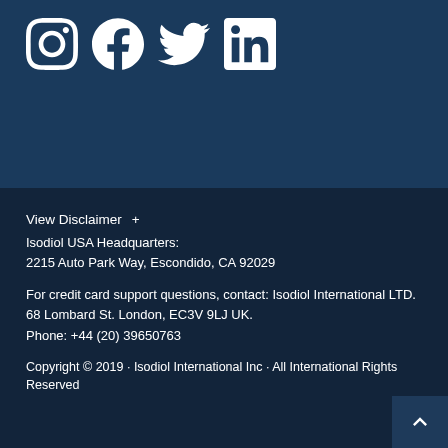[Figure (illustration): Social media icons row: Instagram, Facebook, Twitter, LinkedIn — white icons on dark blue background]
View Disclaimer +
Isodiol USA Headquarters:
2215 Auto Park Way, Escondido, CA 92029
For credit card support questions, contact: Isodiol International LTD.
68 Lombard St. London, EC3V 9LJ UK.
Phone: +44 (20) 39650763
Copyright © 2019 · Isodiol International Inc · All International Rights Reserved